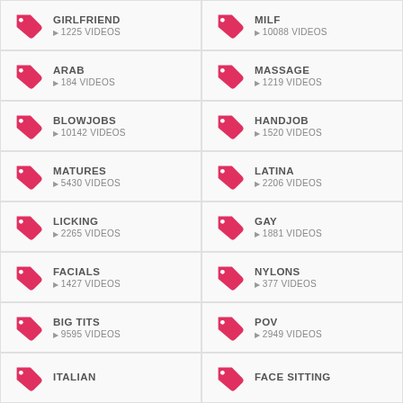GIRLFRIEND
▶ 1225 VIDEOS
MILF
▶ 10088 VIDEOS
ARAB
▶ 184 VIDEOS
MASSAGE
▶ 1219 VIDEOS
BLOWJOBS
▶ 10142 VIDEOS
HANDJOB
▶ 1520 VIDEOS
MATURES
▶ 5430 VIDEOS
LATINA
▶ 2206 VIDEOS
LICKING
▶ 2265 VIDEOS
GAY
▶ 1881 VIDEOS
FACIALS
▶ 1427 VIDEOS
NYLONS
▶ 377 VIDEOS
BIG TITS
▶ 9595 VIDEOS
POV
▶ 2949 VIDEOS
ITALIAN
FACE SITTING